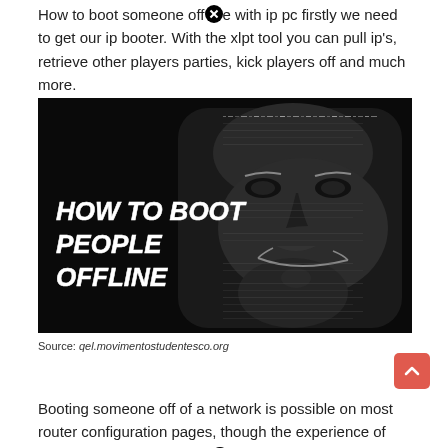How to boot someone offline with ip pc firstly we need to get our ip booter. With the xlpt tool you can pull ip's, retrieve other players parties, kick players off and much more.
[Figure (photo): Black background image with half of an Anonymous-style Guy Fawkes mask made of text/words, with bold white italic text reading 'HOW TO BOOT PEOPLE OFFLINE' on the left side.]
Source: qel.movimentostudentesco.org
Booting someone off of a network is possible on most router configuration pages, though the experience of doing so varies heavily depending on the router. How